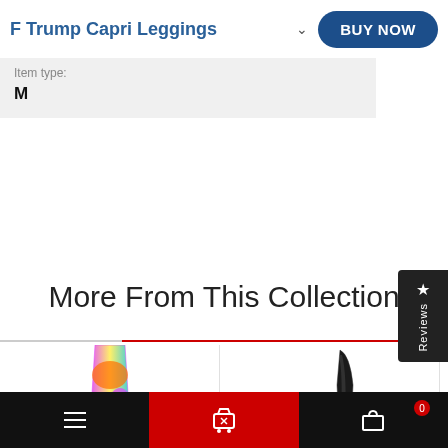F Trump Capri Leggings
Item type:
M
More From This Collection
[Figure (photo): Colorful patterned leggings product image]
[Figure (photo): Black leggings product image]
Navigation bar with hamburger menu, cart icon, and bag icon with badge 0